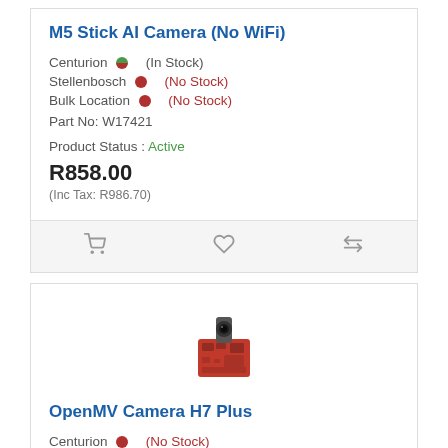M5 Stick AI Camera (No WiFi)
Centurion (In Stock)
Stellenbosch (No Stock)
Bulk Location (No Stock)
Part No: W17421
Product Status : Active
R858.00
(Inc Tax: R986.70)
[Figure (other): Action icons row: shopping cart, heart/wishlist, compare arrows]
[Figure (photo): OpenMV Camera H7 Plus product photo — small red PCB with camera module on top]
OpenMV Camera H7 Plus
Centurion (No Stock)
Stellenbosch (No Stock)
Part No: SEN-16989
Product Status : Active